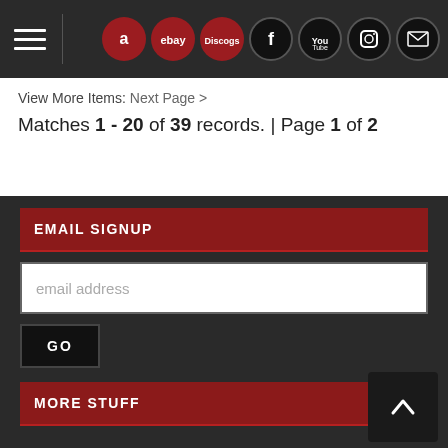Navigation bar with hamburger menu and social/shopping icons: Amazon, eBay, Discogs, Facebook, YouTube, Instagram, Email
View More Items: Next Page >
Matches 1 - 20 of 39 records. | Page 1 of 2
EMAIL SIGNUP
email address
GO
MORE STUFF
SOCIAL MEDIA - CONNECT WITH US
BUYING USED
CONTACT US